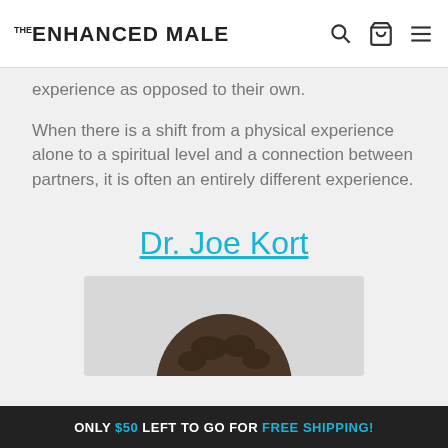THE ENHANCED MALE
experience as opposed to their own.
When there is a shift from a physical experience alone to a spiritual level and a connection between partners, it is often an entirely different experience.
Dr. Joe Kort
[Figure (photo): Top of a person's head with dark hair, cropped photo in a light grey box]
ONLY $50 LEFT TO GO FOR FREE SHIPPING!